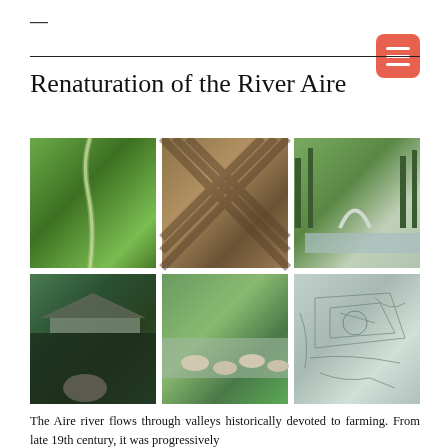—
Renaturation of the River Aire
[Figure (photo): Grid of six photographs showing the Renaturation of the River Aire project: aerial view of river corridor with trees and fields, close-up of woven/textured stone or wood surface, park landscape with arch structure and reflective water, river with dock and dark water, natural stream with stepping stones through green meadow, and architectural site plan drawing.]
The Aire river flows through valleys historically devoted to farming. From late 19th century, it was progressively